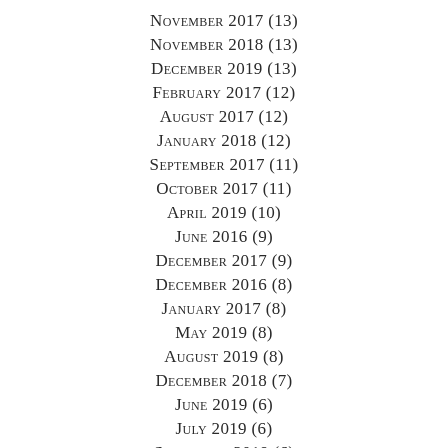November 2017 (13)
November 2018 (13)
December 2019 (13)
February 2017 (12)
August 2017 (12)
January 2018 (12)
September 2017 (11)
October 2017 (11)
April 2019 (10)
June 2016 (9)
December 2017 (9)
December 2016 (8)
January 2017 (8)
May 2019 (8)
August 2019 (8)
December 2018 (7)
June 2019 (6)
July 2019 (6)
September 2019 (6)